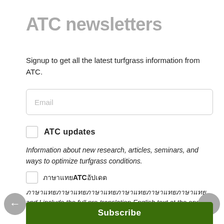ATC newsletters
Signup to get all the latest turfgrass information from ATC.
Email
ATC updates
Information about new research, articles, seminars, and ways to optimize turfgrass conditions.
ภาษาไทย ATC อัปเดต
ภาษาไทยภาษาไทยภาษาไทยภาษาไทยภาษาไทยภาษาไทย and I include the full pre-translation English text at the end of the newsletter.
By submitting this form, you opt in to receiving emailed information and offers from Asian Turfgrass Center.